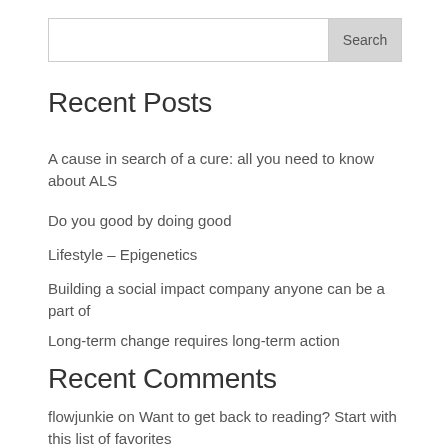Recent Posts
A cause in search of a cure: all you need to know about ALS
Do you good by doing good
Lifestyle – Epigenetics
Building a social impact company anyone can be a part of
Long-term change requires long-term action
Recent Comments
flowjunkie on Want to get back to reading? Start with this list of favorites
Our 6 Pillars of Wellness | DIEMlife on The Philosophy of DIEMlife